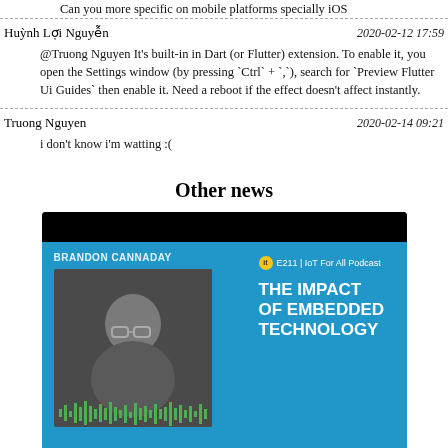Can you more specific on mobile platforms specially iOS
Huỳnh Lợi Nguyễn	2020-02-12 17:59
@Truong Nguyen It's built-in in Dart (or Flutter) extension. To enable it, you open the Settings window (by pressing `Ctrl` + `,`), search for `Preview Flutter Ui Guides` then enable it. Need a reboot if the effect doesn't affect instantly.
Truong Nguyen	2020-02-14 09:21
i don't know i'm watting :(
Other news
[Figure (other): Podcast card for 'The Impact of Embedded Technology' featuring Brandon Cannaday, E211 | IoT For All Podcast, Video Podcast badge]